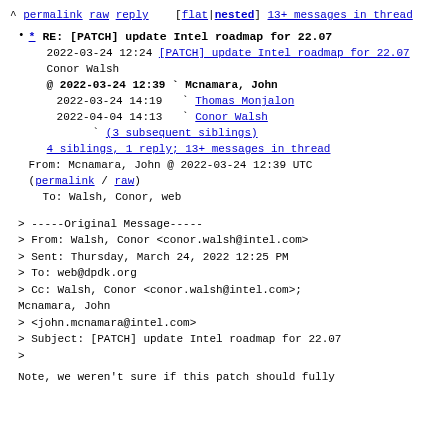^ permalink raw reply   [flat|nested] 13+ messages in thread
* RE: [PATCH] update Intel roadmap for 22.07
2022-03-24 12:24 [PATCH] update Intel roadmap for 22.07 Conor Walsh
@ 2022-03-24 12:39 ` Mcnamara, John
2022-03-24 14:19   ` Thomas Monjalon
2022-04-04 14:13   ` Conor Walsh
                     ` (3 subsequent siblings)
4 siblings, 1 reply; 13+ messages in thread
From: Mcnamara, John @ 2022-03-24 12:39 UTC (permalink / raw)
To: Walsh, Conor, web
> -----Original Message-----
> From: Walsh, Conor <conor.walsh@intel.com>
> Sent: Thursday, March 24, 2022 12:25 PM
> To: web@dpdk.org
> Cc: Walsh, Conor <conor.walsh@intel.com>; Mcnamara, John
> <john.mcnamara@intel.com>
> Subject: [PATCH] update Intel roadmap for 22.07
>
Note, we weren't sure if this patch should fully